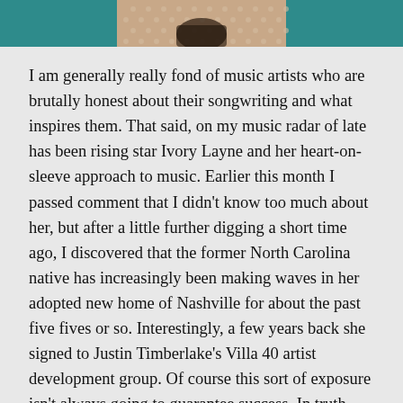[Figure (photo): Cropped bottom portion of a photo of a person (likely Ivory Layne) against a teal background, wearing a patterned outfit, only the lower torso/hands visible.]
I am generally really fond of music artists who are brutally honest about their songwriting and what inspires them. That said, on my music radar of late has been rising star Ivory Layne and her heart-on-sleeve approach to music. Earlier this month I passed comment that I didn't know too much about her, but after a little further digging a short time ago, I discovered that the former North Carolina native has increasingly been making waves in her adopted new home of Nashville for about the past five fives or so. Interestingly, a few years back she signed to Justin Timberlake's Villa 40 artist development group. Of course this sort of exposure isn't always going to guarantee success. In truth, I'm not so sure she needs it. She seems to have the ability to grab people's attention all on her own, especially with her otherworldly vocals and poetic lyrics.